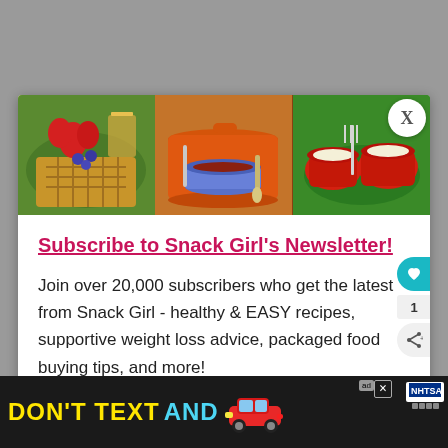[Figure (photo): Three food photos side by side: waffles with strawberries and blueberries on a green plate, orange pot with chili/stew, and stuffed red peppers on a green plate]
Subscribe to Snack Girl's Newsletter!
Join over 20,000 subscribers who get the latest from Snack Girl - healthy & EASY recipes, supportive weight loss advice, packaged food buying tips, and more!
enter your email address
[Figure (infographic): Advertisement banner at the bottom: DON'T TEXT AND [car illustration] with NHTSA logo and ad badge]